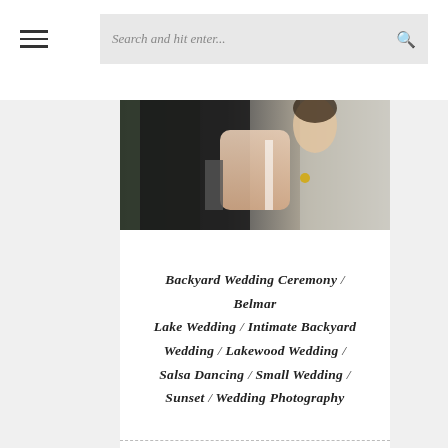Search and hit enter...
[Figure (photo): Wedding couple photo — man in dark suit, woman in white dress, partial view from waist up]
Backyard Wedding Ceremony / Belmar Lake Wedding / Intimate Backyard Wedding / Lakewood Wedding / Salsa Dancing / Small Wedding / Sunset / Wedding Photography
[Figure (illustration): Camera placeholder icon — grey rounded square with camera symbol]
Previous Story